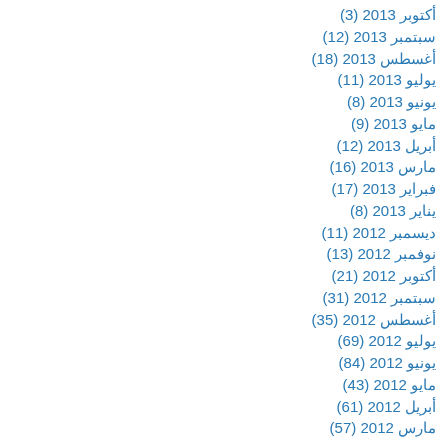أكتوبر 2013 (3)
سبتمبر 2013 (12)
أغسطس 2013 (18)
يوليو 2013 (11)
يونيو 2013 (8)
مايو 2013 (9)
أبريل 2013 (12)
مارس 2013 (16)
فبراير 2013 (17)
يناير 2013 (8)
ديسمبر 2012 (11)
نوفمبر 2012 (13)
أكتوبر 2012 (21)
سبتمبر 2012 (31)
أغسطس 2012 (35)
يوليو 2012 (69)
يونيو 2012 (84)
مايو 2012 (43)
أبريل 2012 (61)
مارس 2012 (57)